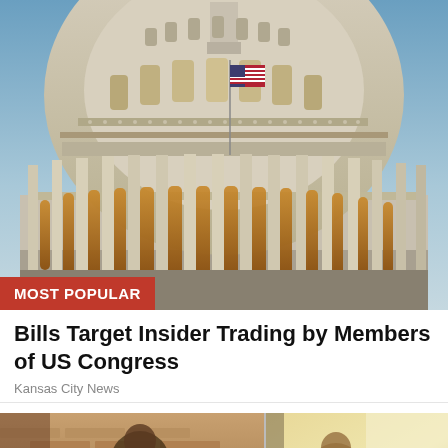[Figure (photo): Close-up photograph of the US Capitol building dome with an American flag and classical columns, illuminated with warm golden light at dusk. A red banner reading 'MOST POPULAR' overlays the bottom-left corner.]
Bills Target Insider Trading by Members of US Congress
Kansas City News
[Figure (photo): Two side-by-side partial photographs at the bottom of the page. Left image shows a person in front of a brick wall. Right image shows another person, slightly overexposed.]